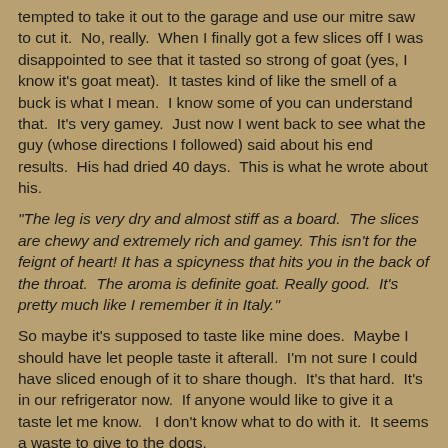tempted to take it out to the garage and use our mitre saw to cut it.  No, really.  When I finally got a few slices off I was disappointed to see that it tasted so strong of goat (yes, I know it's goat meat).  It tastes kind of like the smell of a buck is what I mean.  I know some of you can understand that.  It's very gamey.  Just now I went back to see what the guy (whose directions I followed) said about his end results.  His had dried 40 days.  This is what he wrote about his.
"The leg is very dry and almost stiff as a board.  The slices are chewy and extremely rich and gamey. This isn't for the feignt of heart! It has a spicyness that hits you in the back of the throat.  The aroma is definite goat. Really good.  It's pretty much like I remember it in Italy."
So maybe it's supposed to taste like mine does.  Maybe I should have let people taste it afterall.  I'm not sure I could have sliced enough of it to share though.  It's that hard.  It's in our refrigerator now.  If anyone would like to give it a taste let me know.   I don't know what to do with it.  It seems a waste to give to the dogs.